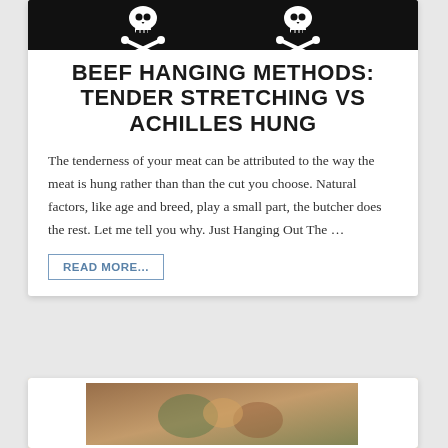[Figure (illustration): Dark/black background image showing two skull and crossbones graphics side by side in white]
BEEF HANGING METHODS: TENDER STRETCHING VS ACHILLES HUNG
The tenderness of your meat can be attributed to the way the meat is hung rather than than the cut you choose. Natural factors, like age and breed, play a small part, the butcher does the rest. Let me tell you why. Just Hanging Out The …
READ MORE...
[Figure (photo): Partial view of a second article card with a food/meat related photo at the bottom of the page]